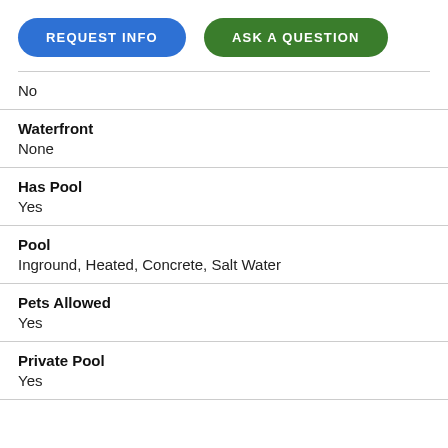[Figure (other): Two buttons: 'REQUEST INFO' (blue, pill-shaped) and 'ASK A QUESTION' (green, pill-shaped)]
No
Waterfront
None
Has Pool
Yes
Pool
Inground, Heated, Concrete, Salt Water
Pets Allowed
Yes
Private Pool
Yes